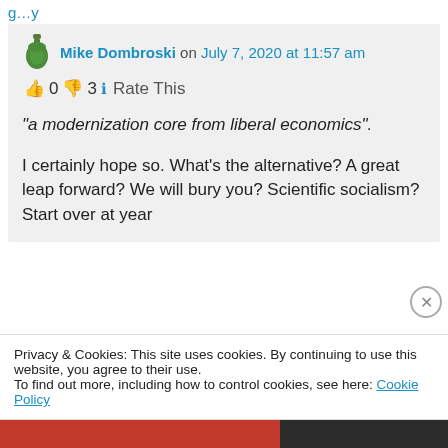g…y
Mike Dombroski on July 7, 2020 at 11:57 am
👍 0 👎 3 ℹ Rate This
“a modernization core from liberal economics”.
I certainly hope so. What’s the alternative? A great leap forward? We will bury you? Scientific socialism? Start over at year
Privacy & Cookies: This site uses cookies. By continuing to use this website, you agree to their use.
To find out more, including how to control cookies, see here: Cookie Policy
Close and accept